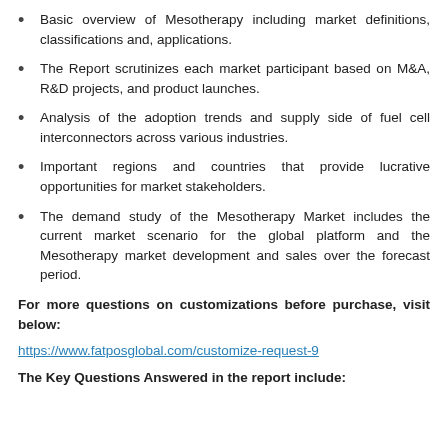Basic overview of Mesotherapy including market definitions, classifications and, applications.
The Report scrutinizes each market participant based on M&A, R&D projects, and product launches.
Analysis of the adoption trends and supply side of fuel cell interconnectors across various industries.
Important regions and countries that provide lucrative opportunities for market stakeholders.
The demand study of the Mesotherapy Market includes the current market scenario for the global platform and the Mesotherapy market development and sales over the forecast period.
For more questions on customizations before purchase, visit below:
https://www.fatposglobal.com/customize-request-9
The Key Questions Answered in the report include: